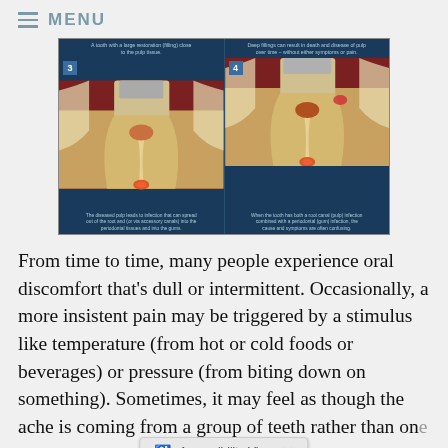MENU
[Figure (illustration): Two-panel dental diagram showing panels 3 and 4. Panel 3: A tooth with a large restoration (filling) close to the pulp tissue. Caption below: The diseased pulp leads to infection that can spread out of the root and (or via accessory canals) into the periodontal tissues and into the gums. Panel 4: Deep fillings can result in death and disease of pulp over time – without either symptoms or pain. Caption below: When the tooth has both a root canal (pulp) infection combined with a periodontal (gum) infection, the cause and symptoms are often confusing.]
From time to time, many people experience oral discomfort that's dull or intermittent. Occasionally, a more insistent pain may be triggered by a stimulus like temperature (from hot or cold foods or beverages) or pressure (from biting down on something). Sometimes, it may feel as though the ache is coming from a group of teeth rather than one single tooth — even from